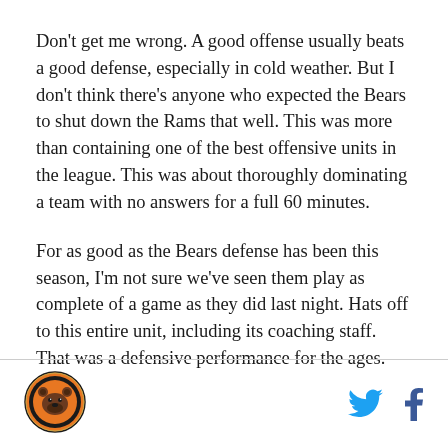Don't get me wrong. A good offense usually beats a good defense, especially in cold weather. But I don't think there's anyone who expected the Bears to shut down the Rams that well. This was more than containing one of the best offensive units in the league. This was about thoroughly dominating a team with no answers for a full 60 minutes.
For as good as the Bears defense has been this season, I'm not sure we've seen them play as complete of a game as they did last night. Hats off to this entire unit, including its coaching staff. That was a defensive performance for the ages.
[Figure (logo): Chicago Bears circular logo]